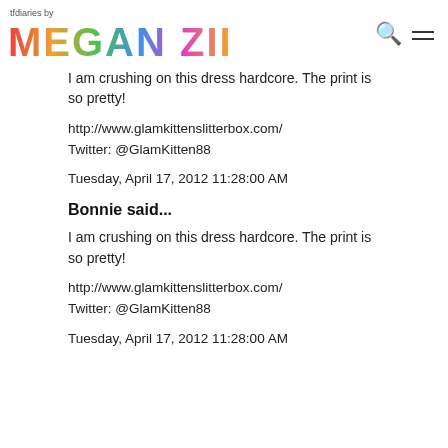tfdiaries by MEGAN ZIETZ
I am crushing on this dress hardcore. The print is so pretty!
http://www.glamkittenslitterbox.com/
Twitter: @GlamKitten88
Tuesday, April 17, 2012 11:28:00 AM
Bonnie said...
I am crushing on this dress hardcore. The print is so pretty!
http://www.glamkittenslitterbox.com/
Twitter: @GlamKitten88
Tuesday, April 17, 2012 11:28:00 AM